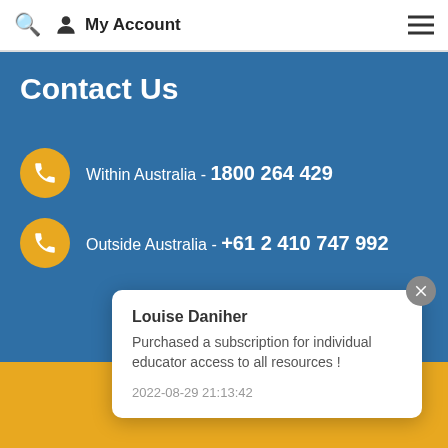My Account
Contact Us
Within Australia - 1800 264 429
Outside Australia - +61 2 410 747 992
Louise Daniher
Purchased a subscription for individual educator access to all resources !
2022-08-29 21:13:42
Webhead